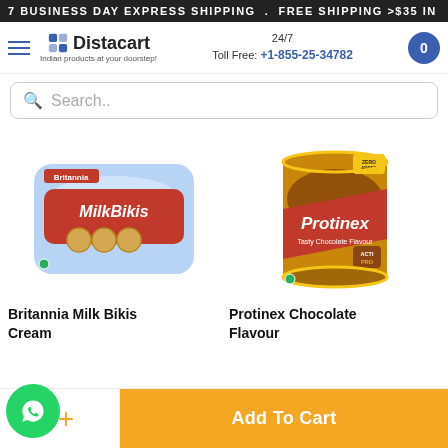7 BUSINESS DAY EXPRESS SHIPPING . FREE SHIPPING >$35 IN
Distacart | Indian products at your doorstep! | 24/7 Toll Free: +1-855-25-34782
Search..
[Figure (photo): Britannia Milk Bikis Cream biscuits product photo]
[Figure (photo): Protinex Chocolate Flavour protein supplement tin product photo]
Britannia Milk Bikis Cream
Protinex Chocolate Flavour
1  +  Add To Cart